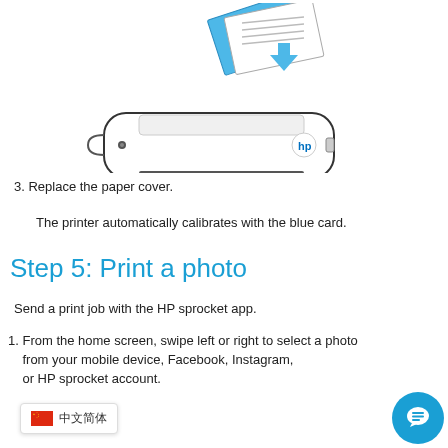[Figure (illustration): Line drawing illustration of an HP sprocket portable printer with paper/blue card being inserted, shown with a blue arrow indicating insertion direction.]
3. Replace the paper cover.
The printer automatically calibrates with the blue card.
Step 5: Print a photo
Send a print job with the HP sprocket app.
1. From the home screen, swipe left or right to select a photo from your mobile device, Facebook, Instagram, or HP sprocket account.